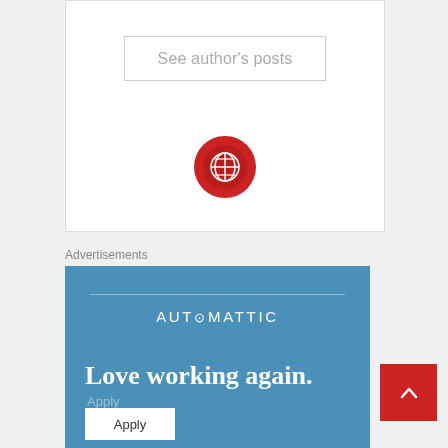See author's posts
[Figure (logo): Red circular globe icon with white globe graphic]
Advertisements
[Figure (infographic): Automattic advertisement banner with blue background, 'AUTOMATTIC' text, 'Love working again.' headline, and 'Apply' button]
[Figure (other): Red back-to-top button with white chevron arrow]